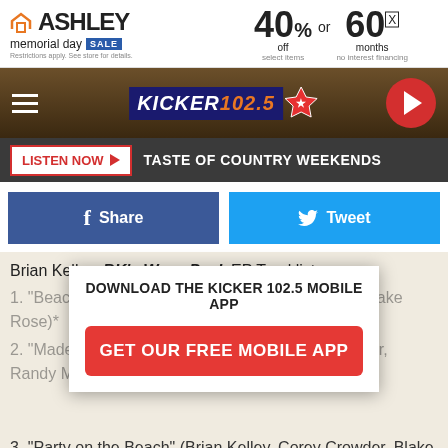[Figure (infographic): Ashley Memorial Day Sale advertisement banner: 40% off or 60 months no interest financing]
[Figure (logo): Kicker 102.5 radio station logo with navigation bar, hamburger menu, and play button]
LISTEN NOW ▶  TASTE OF COUNTRY WEEKENDS
[Figure (infographic): Facebook Share button and Twitter Tweet button]
Brian Kelley, BK's Wave Pack EP Tracklist:
[Figure (infographic): Download the Kicker 102.5 Mobile App overlay with GET OUR FREE MOBILE APP button]
1. "Beach Cowboy" (Brian Kelley, Blake Redferrin, Jake Rose)*
2. "Made by the Water" (Brian Kelley, Corey Crowder, Randy Montana)
3. "Party on the Beach" (Brian Kelley, Corey Crowder, Blake Redferrin, Canaan Smith)
4. "Sunday Service in the Sand" (Brian Kelley, Blake Redferrin, Canaan Smith, Jake Rose)